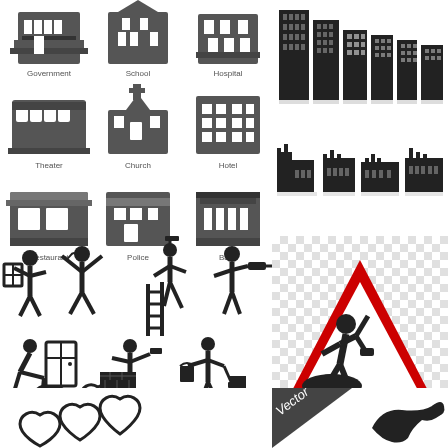[Figure (illustration): Grid of building/landmark icons in black silhouette: Government, School, Hospital (top row), Theater, Church, Hotel (middle row), Restaurant, Police, Bank (bottom row) with labels underneath]
[Figure (illustration): Black silhouette skyscraper and city building icons in multiple sizes with reflections, arranged in two rows]
[Figure (illustration): Black silhouette factory/industrial building icons with chimneys arranged in a row with reflections]
[Figure (illustration): Stick figure pictograms showing construction/repair workers: painting walls, working on ladders, laying bricks, plumbing, roofing]
[Figure (illustration): Road works warning sign: red triangular sign with white interior showing a stick figure digging with a shovel next to a mound of dirt, on checkered transparent background]
[Figure (illustration): Bottom left: outline heart shapes arranged in a group]
[Figure (illustration): Bottom right corner: dark triangle with 'Vector' text label]
[Figure (illustration): Bottom right: black silhouette of a dog or animal shape]